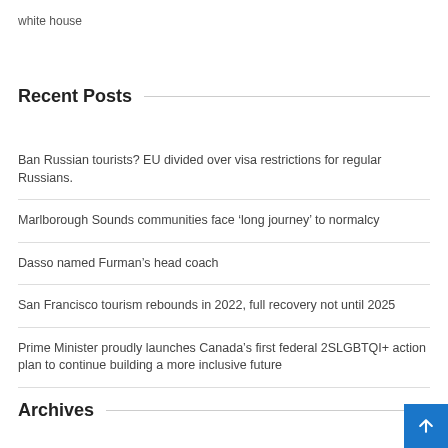white house
Recent Posts
Ban Russian tourists? EU divided over visa restrictions for regular Russians.
Marlborough Sounds communities face ‘long journey’ to normalcy
Dasso named Furman’s head coach
San Francisco tourism rebounds in 2022, full recovery not until 2025
Prime Minister proudly launches Canada’s first federal 2SLGBTQI+ action plan to continue building a more inclusive future
Archives